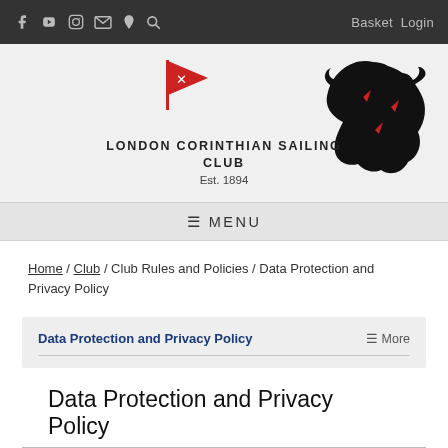f [YouTube] [Instagram] [Mail] [Location] [Search]   Basket Login
[Figure (logo): London Corinthian Sailing Club logo with red pennant and lion/dragon emblem. Text: LONDON CORINTHIAN SAILING CLUB Est. 1894]
☰ MENU
Home / Club / Club Rules and Policies / Data Protection and Privacy Policy
Data Protection and Privacy Policy   ☰ More
Data Protection and Privacy Policy